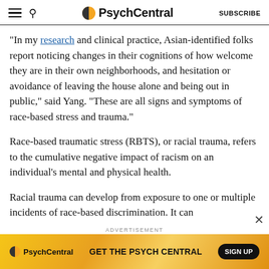PsychCentral — SUBSCRIBE
“In my research and clinical practice, Asian-identified folks report noticing changes in their cognitions of how welcome they are in their own neighborhoods, and hesitation or avoidance of leaving the house alone and being out in public,” said Yang. “These are all signs and symptoms of race-based stress and trauma.”
Race-based traumatic stress (RBTS), or racial trauma, refers to the cumulative negative impact of racism on an individual’s mental and physical health.
Racial trauma can develop from exposure to one or multiple incidents of race-based discrimination. It can
[Figure (other): PsychCentral advertisement banner with logo, text 'GET THE PSYCH CENTRAL' and a SIGN UP button on a yellow/orange gradient background]